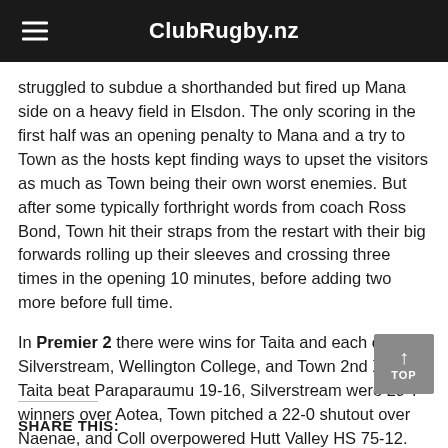ClubRugby.nz
struggled to subdue a shorthanded but fired up Mana side on a heavy field in Elsdon. The only scoring in the first half was an opening penalty to Mana and a try to Town as the hosts kept finding ways to upset the visitors as much as Town being their own worst enemies. But after some typically forthright words from coach Ross Bond, Town hit their straps from the restart with their big forwards rolling up their sleeves and crossing three times in the opening 10 minutes, before adding two more before full time.
In Premier 2 there were wins for Taita and each of the Silverstream, Wellington College, and Town 2nd XVs. Taita beat Paraparaumu 19-16, Silverstream were 29-7 winners over Aotea, Town pitched a 22-0 shutout over Naenae, and Coll overpowered Hutt Valley HS 75-12. The fifth match didn't go ahead as Bishop Viard defaulted to Upper Hutt yesterday
SHARE THIS: